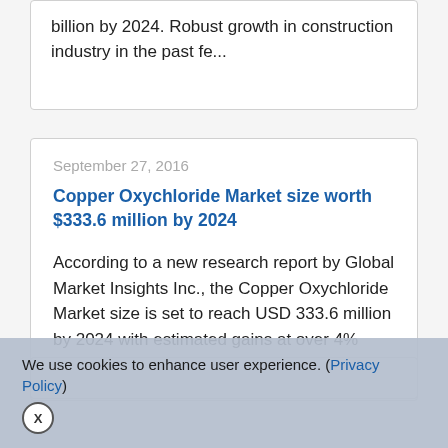billion by 2024. Robust growth in construction industry in the past fe...
September 27, 2016
Copper Oxychloride Market size worth $333.6 million by 2024
According to a new research report by Global Market Insights Inc., the Copper Oxychloride Market size is set to reach USD 333.6 million by 2024 with estimated gains at over 4% CAGR. Increasing populat...
We use cookies to enhance user experience. (Privacy Policy)